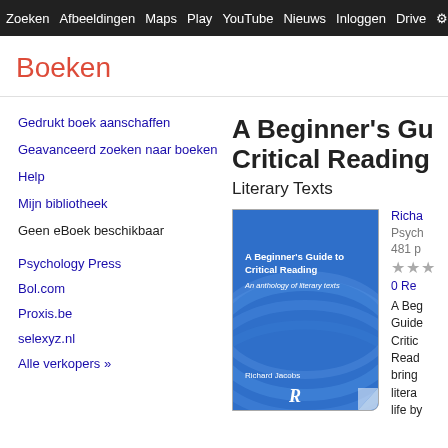Zoeken  Afbeeldingen  Maps  Play  YouTube  Nieuws  Inloggen  Drive  ⚙  M
Boeken
Gedrukt boek aanschaffen
Geavanceerd zoeken naar boeken
Help
Mijn bibliotheek
Geen eBoek beschikbaar
Psychology Press
Bol.com
Proxis.be
selexyz.nl
Alle verkopers »
A Beginner's Guide to Critical Reading
Literary Texts
[Figure (illustration): Book cover of 'A Beginner's Guide to Critical Reading: An anthology of literary texts' by Richard Jacobs, blue cover with wave design, Routledge publisher logo]
Richa
Psych
481 p
★★★
0 Re
A Beg Guide Critic Read bring litera life by